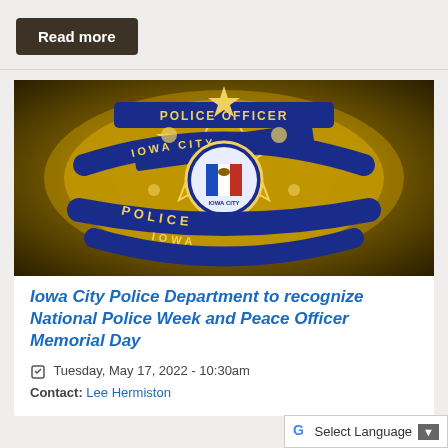Read more
[Figure (photo): Close-up photo of an Iowa City Police Officer badge, gold colored with blue enamel text reading POLICE OFFICER, IOWA CITY, IOWA CITY, POLICE, IOWA. Contains Iowa state flag emblem in center.]
Iowa City Police Department to recognize National Police Week and Peace Officer Memorial Day
Tuesday, May 17, 2022 - 10:30am
Contact: Lee Hermiston
Select Language